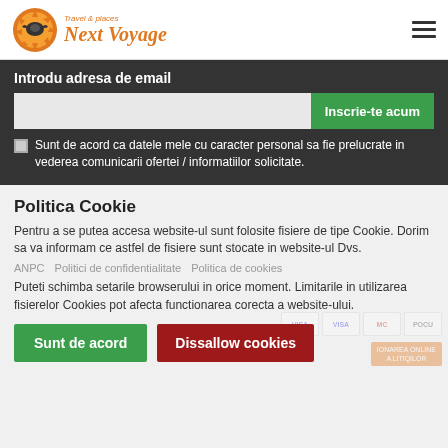[Figure (logo): Next Voyage Travel & places logo with orange sun/bird icon]
Introdu adresa de email
Inscrie-te acum
Sunt de acord ca datele mele cu caracter personal sa fie prelucrate in vederea comunicarii ofertei / informatiilor solicitate.
Politica Cookie
Pentru a se putea accesa website-ul sunt folosite fisiere de tipe Cookie. Dorim sa va informam ce astfel de fisiere sunt stocate in website-ul Dvs.
ANPC    Politici de confidentialitate    Politica de cookies
Puteti schimba setarile browserului in orice moment. Limitarile in utilizarea fisierelor Cookies pot afecta functionarea corecta a website-ului.
Sunt de acord
Dissallow cookies